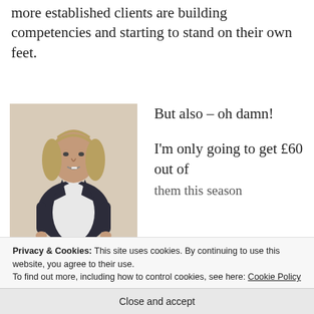more established clients are building competencies and starting to stand on their own feet.
[Figure (photo): Elderly man with long grey hair wearing a dark waistcoat over a white shirt, standing against a light background.]
But also – oh damn!

I'm only going to get £60 out of them this season
Privacy & Cookies: This site uses cookies. By continuing to use this website, you agree to their use.
To find out more, including how to control cookies, see here: Cookie Policy
Close and accept
for my business